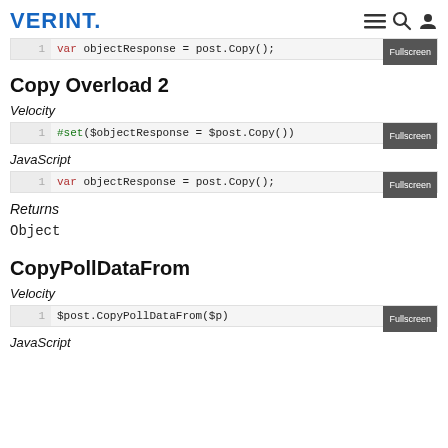VERINT.
1   var objectResponse = post.Copy();
Copy Overload 2
Velocity
1   #set($objectResponse = $post.Copy())
JavaScript
1   var objectResponse = post.Copy();
Returns
Object
CopyPollDataFrom
Velocity
1   $post.CopyPollDataFrom($p)
JavaScript